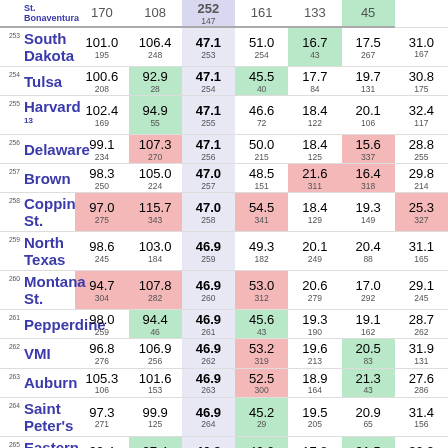| Rank | Name | Off | Def | Score | Opp Score | Def Rating | Adj Def | Other |
| --- | --- | --- | --- | --- | --- | --- | --- | --- |
| 253 | South Dakota | 101.0
195 | 106.4
248 | 47.1
253 | 51.0
254 | 16.7
43 | 17.5
267 | 31.0
167 |
| 254 | Tulsa | 100.6
208 | 92.9
28 | 47.1
254 | 45.5
40 | 17.7
84 | 19.7
131 | 30.8
175 |
| 255 | Harvard 13 | 102.4
169 | 94.9
55 | 47.1
255 | 46.6
72 | 18.4
122 | 20.1
106 | 32.4
117 |
| 256 | Delaware | 99.1
234 | 107.3
270 | 47.1
256 | 50.0
215 | 18.4
125 | 15.6
337 | 28.8
255 |
| 257 | Brown | 98.3
250 | 105.0
224 | 47.0
257 | 48.5
151 | 21.6
311 | 16.4
318 | 29.8
214 |
| 258 | Coppin St. | 97.0
275 | 115.7
343 | 47.0
258 | 54.5
341 | 18.4
129 | 19.3
149 | 25.3
327 |
| 259 | North Texas | 98.6
245 | 103.0
184 | 46.9
259 | 49.3
182 | 20.1
249 | 20.4
88 | 31.1
165 |
| 260 | Montana St. | 94.7
304 | 107.8
282 | 46.9
260 | 53.0
312 | 20.6
279 | 17.0
292 | 29.1
245 |
| 261 | Pepperdine | 98.0
259 | 94.4
46 | 46.9
261 | 45.6
43 | 19.3
190 | 19.1
162 | 28.7
262 |
| 262 | VMI | 96.8
276 | 106.9
256 | 46.9
262 | 53.2
319 | 19.6
213 | 20.5
83 | 31.9
131 |
| 263 | Auburn | 105.3
106 | 101.6
153 | 46.9
263 | 52.5
300 | 18.9
164 | 21.3
43 | 27.6
286 |
| 264 | Saint Peter's | 97.3
271 | 99.9
125 | 46.9
264 | 45.2
29 | 19.5
205 | 20.9
65 | 31.4
156 |
| 265 | Eastern Michigan | 99.4
227 | 97.4
84 | 46.9
265 | 46.2
62 | 17.8
91 | 21.5
33 | 30.2
196 |
| 266 | Marist | 91.9
321 | 104.1
204 | 46.8
266 | 49.6
196 | 20.5
278 | 20.8
71 | 21.2
348 |